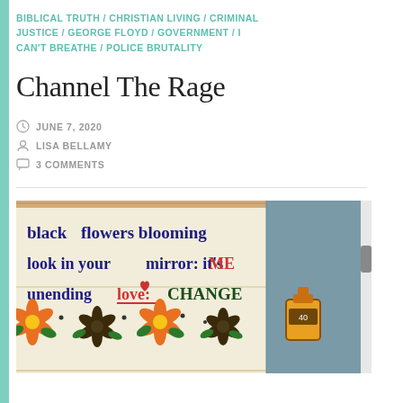BIBLICAL TRUTH / CHRISTIAN LIVING / CRIMINAL JUSTICE / GEORGE FLOYD / GOVERNMENT / I CAN'T BREATHE / POLICE BRUTALITY
Channel The Rage
JUNE 7, 2020
LISA BELLAMY
3 COMMENTS
[Figure (photo): A hand-painted sign on wood boards reading 'black flowers blooming / look in your mirror: it's ME / unending love: CHANGE' with colorful painted flowers at the bottom (orange/yellow and dark flowers with green leaves). The background shows a blue-grey wall.]